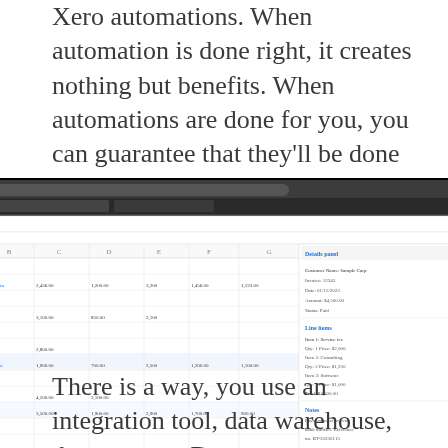Xero automations. When automation is done right, it creates nothing but benefits. When automations are done for you, you can guarantee that they'll be done right.
[Figure (screenshot): Screenshot of a Google Sheets spreadsheet with a side panel open showing data entries and text fields, displayed in a browser window with a black background above and below.]
There is a way, you use an integration tool, data warehouse, then connect Data